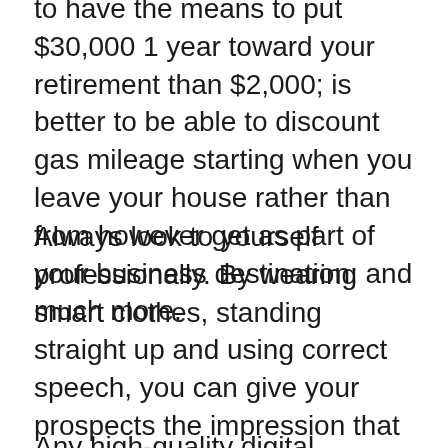to have the means to put $30,000 1 year toward your retirement than $2,000; is better to be able to discount gas mileage starting when you leave your house rather than from however get as part of your business destination; and much more.
Always look to yourself professionally. By wearing smart clothes, standing straight up and using correct speech, you can give your prospects the impression that you are a successful business owner and that you know just what you do. When you obtain the respect of your prospects, it's going to be to be able to get advice and leads from all involved.
Any high-quality digital camera will help